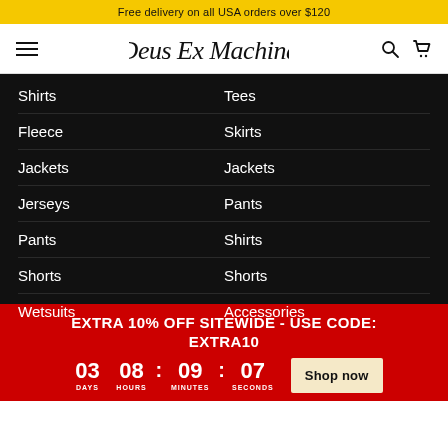Free delivery on all USA orders over $120
[Figure (logo): Deus Ex Machina brand logo in script font, with hamburger menu, search and cart icons]
Shirts
Fleece
Jackets
Jerseys
Pants
Shorts
Wetsuits
Tees
Skirts
Jackets
Pants
Shirts
Shorts
Accessories
EXTRA 10% OFF SITEWIDE - USE CODE: EXTRA10
03 DAYS  08 HOURS : 09 MINUTES : 07 SECONDS  Shop now